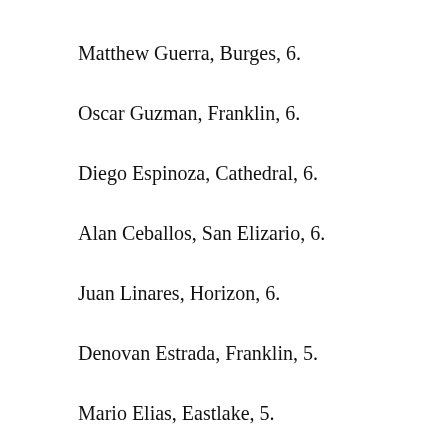Matthew Guerra, Burges, 6.
Oscar Guzman, Franklin, 6.
Diego Espinoza, Cathedral, 6.
Alan Ceballos, San Elizario, 6.
Juan Linares, Horizon, 6.
Denovan Estrada, Franklin, 5.
Mario Elias, Eastlake, 5.
Sam Flores, Coronado, 5.